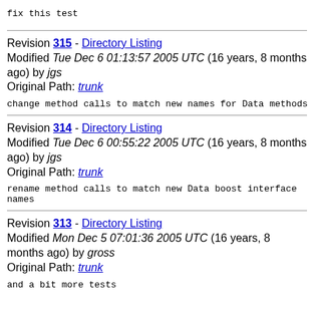fix this test
Revision 315 - Directory Listing
Modified Tue Dec 6 01:13:57 2005 UTC (16 years, 8 months ago) by jgs
Original Path: trunk
change method calls to match new names for Data methods
Revision 314 - Directory Listing
Modified Tue Dec 6 00:55:22 2005 UTC (16 years, 8 months ago) by jgs
Original Path: trunk
rename method calls to match new Data boost interface names
Revision 313 - Directory Listing
Modified Mon Dec 5 07:01:36 2005 UTC (16 years, 8 months ago) by gross
Original Path: trunk
and a bit more tests